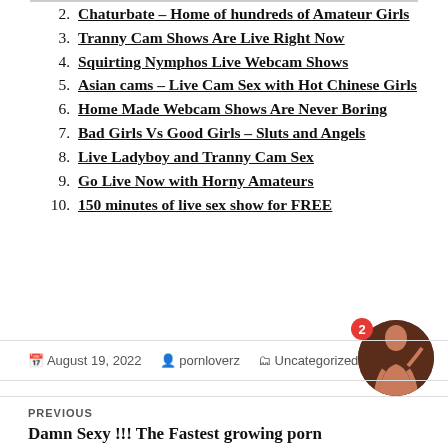2. Chaturbate – Home of hundreds of Amateur Girls
3. Tranny Cam Shows Are Live Right Now
4. Squirting Nymphos Live Webcam Shows
5. Asian cams – Live Cam Sex with Hot Chinese Girls
6. Home Made Webcam Shows Are Never Boring
7. Bad Girls Vs Good Girls – Sluts and Angels
8. Live Ladyboy and Tranny Cam Sex
9. Go Live Now with Horny Amateurs
10. 150 minutes of live sex show for FREE
August 19, 2022   pornloverz   Uncategorized
PREVIOUS
Damn Sexy !!! The Fastest growing porn